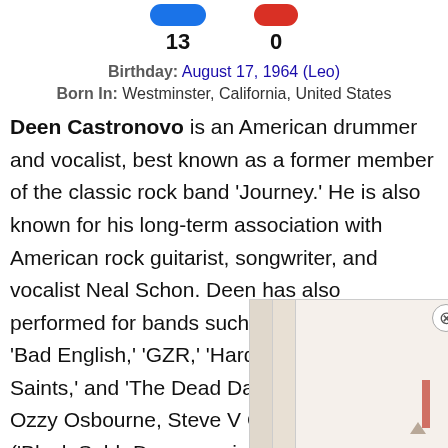[Figure (other): Two pill-shaped buttons/badges (blue and red) with counts 13 and 0 below them]
Birthday: August 17, 1964 (Leo)
Born In: Westminster, California, United States
Deen Castronovo is an American drummer and vocalist, best known as a former member of the classic rock band 'Journey.' He is also known for his long-term association with American rock guitarist, songwriter, and vocalist Neal Schon. Deen has also performed for bands such as 'Wild Dogs,' 'Bad English,' 'GZR,' 'Hardline,' 'Revolution Saints,' and 'The Dead Daisies.' He has [performed] for Ozzy Osbourne, Steve V[ai,] Geezer Butler ('Black Sabba[th'). Deen was just 16 when he [began his career].
[Figure (other): Partially visible popup overlay showing stylized vertical columns/bars in muted beige/cream tones with a small red accent and a close button]